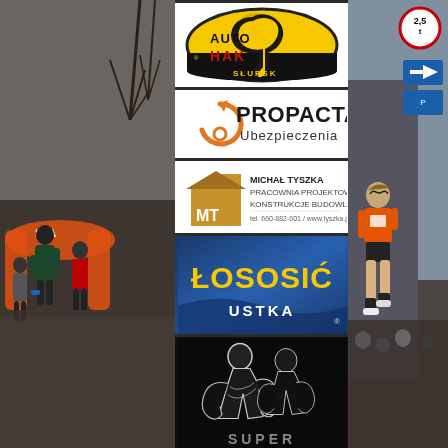[Figure (photo): Left side: runners at a race start line with orange inflatable arch and STAR text visible, outdoor street setting with bare trees]
[Figure (logo): Auto HAK Słupsk logo - yellow oval with black tow hook shape, text AUTO HAK in black/red, SŁUPSK in black at bottom]
[Figure (logo): PROPACTA Ubezpieczenia logo - orange circular arrow icon with PROPACTA text and Ubezpieczenia subtitle]
[Figure (logo): Michał Tyszka Pracownia Projektowa Konstrukcje Budowlane logo - house/building icon with MT initials, contact info tel: 660-882-601 / www.tyszka.pl]
[Figure (logo): ŁOSOSIĆ USTKA logo - blue background with yellow bold text ŁOSOSIĆ and white text USTKA below]
[Figure (logo): SUPER logo or gym/sports logo - black background with illustrated muscular wrestling/boxing figures in white sketch style, SUPER text partially visible at bottom]
[Figure (photo): Right side: runner in orange shirt and shorts at street race, road signs visible including blue directional arrows and 2.5t weight limit sign]